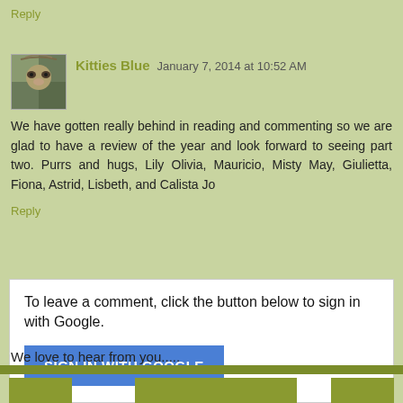you and Triscuit at BlogPaws. :)
Reply
Kitties Blue  January 7, 2014 at 10:52 AM
We have gotten really behind in reading and commenting so we are glad to have a review of the year and look forward to seeing part two. Purrs and hugs, Lily Olivia, Mauricio, Misty May, Giulietta, Fiona, Astrid, Lisbeth, and Calista Jo
Reply
To leave a comment, click the button below to sign in with Google.
SIGN IN WITH GOOGLE
We love to hear from you.....